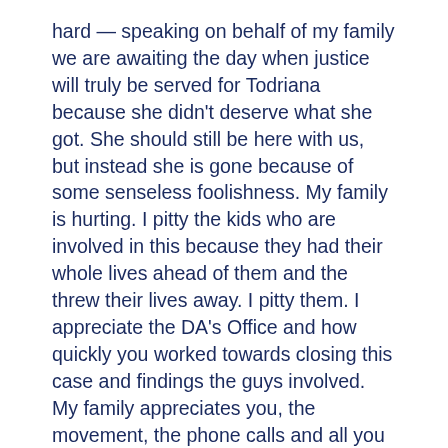hard — speaking on behalf of my family we are awaiting the day when justice will truly be served for Todriana because she didn't deserve what she got. She should still be here with us, but instead she is gone because of some senseless foolishness. My family is hurting. I pitty the kids who are involved in this because they had their whole lives ahead of them and the threw their lives away. I pitty them. I appreciate the DA's Office and how quickly you worked towards closing this case and findings the guys involved. My family appreciates you, the movement, the phone calls and all you have done.
The DA's Office is grateful for the support and partnership of the NOPD, specifically the Homicide Unit and Violent Crime Abatement and Intelligence Team, Louisiana State Police and the St. Bernard Sheriff's office. The collaboration across agencies led to successful indictments in this case and has put our office on the track toward securing justice for Todriana